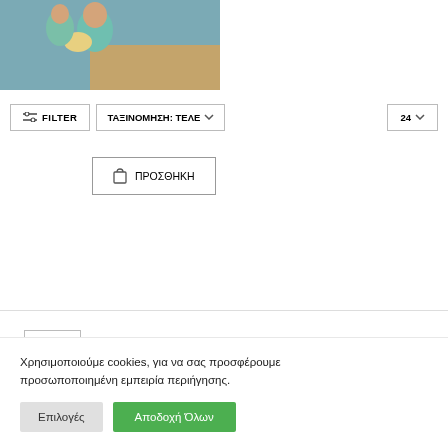[Figure (illustration): Partial view of a colorful illustration showing a figure in teal/green clothing holding something, with a blue/brown background]
FILTER
ΤΑΞΙΝΟΜΗΣΗ: ΤΕΛΕ
24
ΠΡΟΣΘΗΚΗ
24
Χρησιμοποιούμε cookies, για να σας προσφέρουμε προσωποποιημένη εμπειρία περιήγησης.
Επιλογές
Αποδοχή Όλων